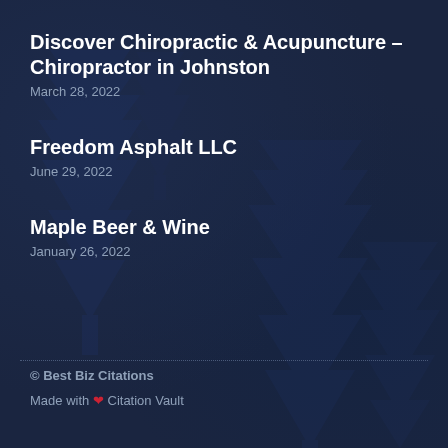Discover Chiropractic & Acupuncture – Chiropractor in Johnston
March 28, 2022
Freedom Asphalt LLC
June 29, 2022
Maple Beer & Wine
January 26, 2022
© Best Biz Citations
Made with ❤ Citation Vault